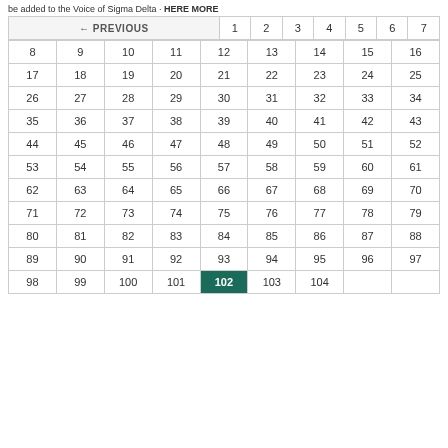be added to the Voice of Sigma Delta ...
| ← PREVIOUS | 1 | 2 | 3 | 4 | 5 | 6 | 7 |
| --- | --- | --- | --- | --- | --- | --- | --- |
| 8 | 9 | 10 | 11 | 12 | 13 | 14 | 15 | 16 |
| 17 | 18 | 19 | 20 | 21 | 22 | 23 | 24 | 25 |
| 26 | 27 | 28 | 29 | 30 | 31 | 32 | 33 | 34 |
| 35 | 36 | 37 | 38 | 39 | 40 | 41 | 42 | 43 |
| 44 | 45 | 46 | 47 | 48 | 49 | 50 | 51 | 52 |
| 53 | 54 | 55 | 56 | 57 | 58 | 59 | 60 | 61 |
| 62 | 63 | 64 | 65 | 66 | 67 | 68 | 69 | 70 |
| 71 | 72 | 73 | 74 | 75 | 76 | 77 | 78 | 79 |
| 80 | 81 | 82 | 83 | 84 | 85 | 86 | 87 | 88 |
| 89 | 90 | 91 | 92 | 93 | 94 | 95 | 96 | 97 |
| 98 | 99 | 100 | 101 | 102 | 103 | 104 |  |  |